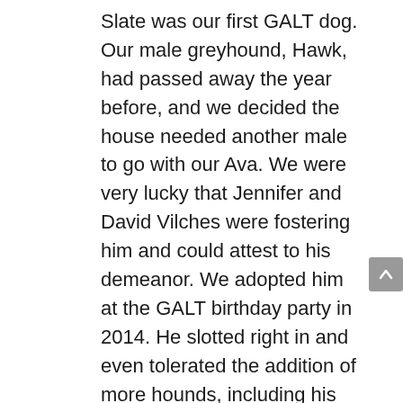Slate was our first GALT dog. Our male greyhound, Hawk, had passed away the year before, and we decided the house needed another male to go with our Ava. We were very lucky that Jennifer and David Vilches were fostering him and could attest to his demeanor. We adopted him at the GALT birthday party in 2014. He slotted right in and even tolerated the addition of more hounds, including his nephew Chill (GALT’s Armani) last year. We asked the trainer what he could tell us about Slate, and he replied that he was just always the sweetest boy. He definitely was. Slate loved his food, a good car ride with a stop at Dairy Queen, and playing